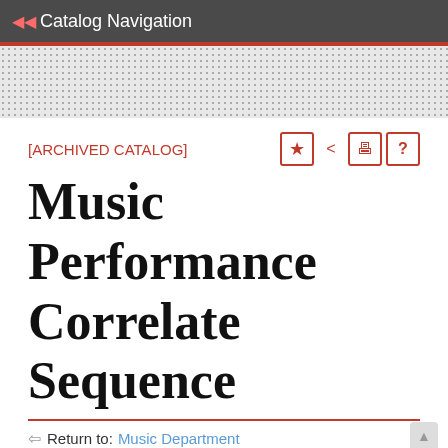Catalog Navigation
[ARCHIVED CATALOG]
Music Performance Correlate Sequence
Return to: Music Department
Complete Sequence in Mu…